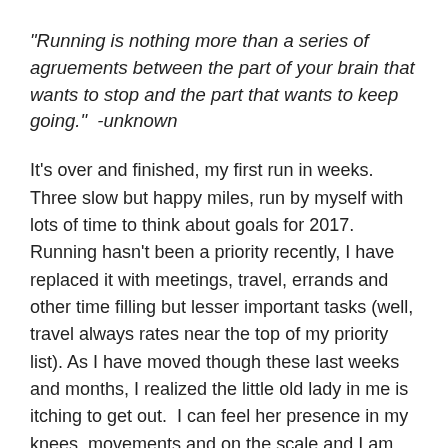“Running is nothing more than a series of agruements between the part of your brain that wants to stop and the part that wants to keep going.”  -unknown
It’s over and finished, my first run in weeks. Three slow but happy miles, run by myself with lots of time to think about goals for 2017. Running hasn’t been a priority recently, I have replaced it with meetings, travel, errands and other time filling but lesser important tasks (well, travel always rates near the top of my priority list). As I have moved though these last weeks and months, I realized the little old lady in me is itching to get out.  I can feel her presence in my knees, movements and on the scale and I am just not ready.  So I am looking for some serious motivation to keep me going in the new year!
Resea rche rs have said it’s all We started the month in